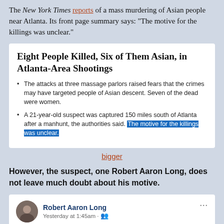The New York Times reports of a mass murdering of Asian people near Atlanta. Its front page summary says: "The motive for the killings was unclear."
[Figure (screenshot): NYT article card with headline 'Eight People Killed, Six of Them Asian, in Atlanta-Area Shootings' and two bullet points, with the phrase 'The motive for the killings was unclear.' highlighted in blue]
bigger
However, the suspect, one Robert Aaron Long, does not leave much doubt about his motive.
[Figure (screenshot): Facebook post by Robert Aaron Long, posted Yesterday at 1:45am, reading 'China is engaged in a COVID coverup. They blocked our investigators from going to their lab in Wuhan and finding the truth']